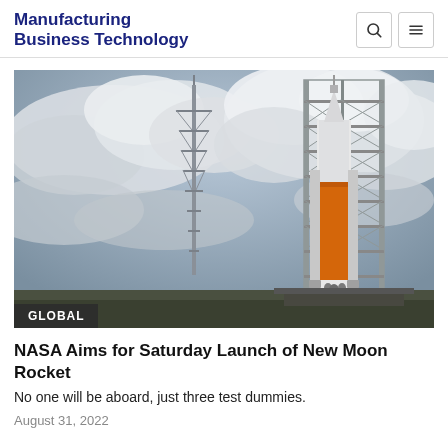Manufacturing Business Technology
[Figure (photo): NASA Space Launch System (SLS) rocket on launch pad with orange main stage, white Orion capsule on top, surrounded by launch tower scaffolding, and a tall lightning rod tower to the left, against a dramatic cloudy sky.]
GLOBAL
NASA Aims for Saturday Launch of New Moon Rocket
No one will be aboard, just three test dummies.
August 31, 2022